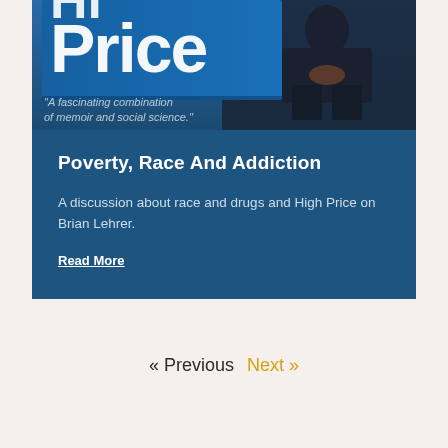[Figure (photo): Book cover or promotional image showing the word 'Price' in large white text on a blue background, with a person sitting in the background and an italic quote: "A fascinating combination of memoir and social science."]
Poverty, Race And Addiction
A discussion about race and drugs and High Price on Brian Lehrer.
Read More
« Previous  Next »